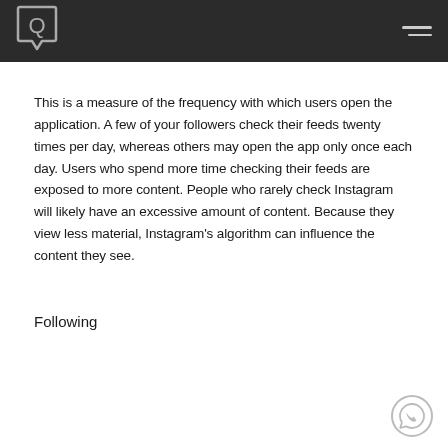This is a measure of the frequency with which users open the application. A few of your followers check their feeds twenty times per day, whereas others may open the app only once each day. Users who spend more time checking their feeds are exposed to more content. People who rarely check Instagram will likely have an excessive amount of content. Because they view less material, Instagram's algorithm can influence the content they see.
Following